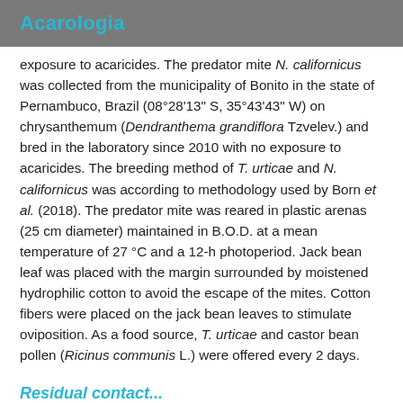Acarologia
exposure to acaricides. The predator mite N. californicus was collected from the municipality of Bonito in the state of Pernambuco, Brazil (08°28'13" S, 35°43'43" W) on chrysanthemum (Dendranthema grandiflora Tzvelev.) and bred in the laboratory since 2010 with no exposure to acaricides. The breeding method of T. urticae and N. californicus was according to methodology used by Born et al. (2018). The predator mite was reared in plastic arenas (25 cm diameter) maintained in B.O.D. at a mean temperature of 27 °C and a 12-h photoperiod. Jack bean leaf was placed with the margin surrounded by moistened hydrophilic cotton to avoid the escape of the mites. Cotton fibers were placed on the jack bean leaves to stimulate oviposition. As a food source, T. urticae and castor bean pollen (Ricinus communis L.) were offered every 2 days.
Residual contact...